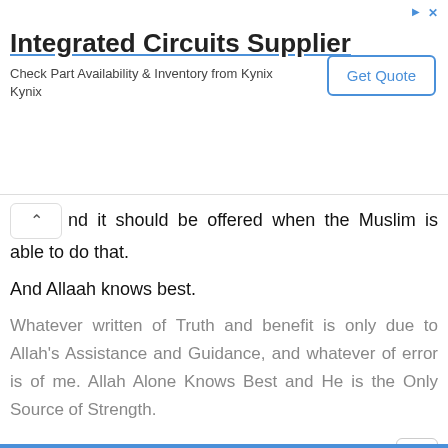[Figure (screenshot): Advertisement banner for 'Integrated Circuits Supplier' with a 'Get Quote' button, from Kynix]
and it should be offered when the Muslim is able to do that.
And Allaah knows best.
Whatever written of Truth and benefit is only due to Allah's Assistance and Guidance, and whatever of error is of me. Allah Alone Knows Best and He is the Only Source of Strength.
Your brother and well wisher in Islam
Related Answers: